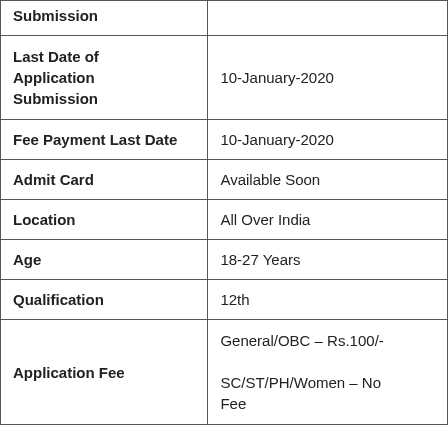| Field | Value |
| --- | --- |
| Submission |  |
| Last Date of Application Submission | 10-January-2020 |
| Fee Payment Last Date | 10-January-2020 |
| Admit Card | Available Soon |
| Location | All Over India |
| Age | 18-27 Years |
| Qualification | 12th |
| Application Fee | General/OBC – Rs.100/-
SC/ST/PH/Women – No Fee |